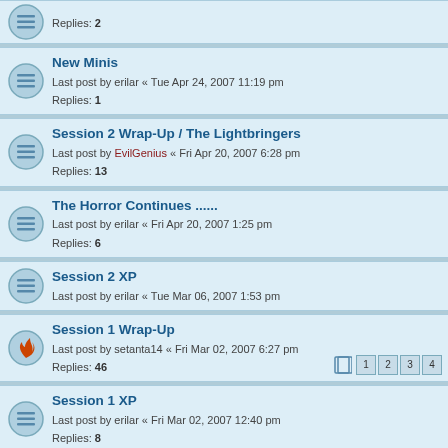Replies: 2
New Minis
Last post by erilar « Tue Apr 24, 2007 11:19 pm
Replies: 1
Session 2 Wrap-Up / The Lightbringers
Last post by EvilGenius « Fri Apr 20, 2007 6:28 pm
Replies: 13
The Horror Continues ......
Last post by erilar « Fri Apr 20, 2007 1:25 pm
Replies: 6
Session 2 XP
Last post by erilar « Tue Mar 06, 2007 1:53 pm
Session 1 Wrap-Up
Last post by setanta14 « Fri Mar 02, 2007 6:27 pm
Replies: 46
Pages: 1 2 3 4
Session 1 XP
Last post by erilar « Fri Mar 02, 2007 12:40 pm
Replies: 8
Miniatures Call - Ravenloft
Last post by NukeHavoc « Fri Mar 02, 2007 10:46 am
Replies: 5
Pierce Haligarth, acquirer of fine treasures
Last post by erilar « Fri Feb 23, 2007 12:20 pm
Replies: 29
Pages: 1 2
Leadership: The Confusion
Last post by erilar « Tue Feb 20, 2007 11:51